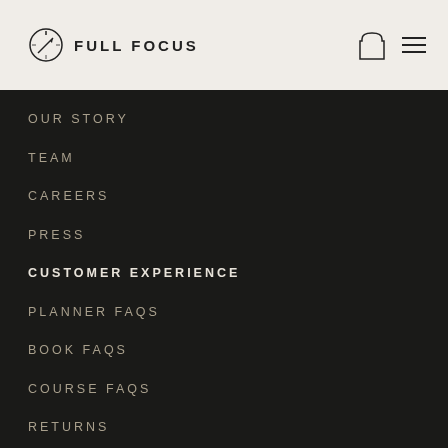[Figure (logo): Full Focus logo with compass/clock icon and text FULL FOCUS]
OUR STORY
TEAM
CAREERS
PRESS
CUSTOMER EXPERIENCE
PLANNER FAQS
BOOK FAQS
COURSE FAQS
RETURNS
CONTACT SUPPORT